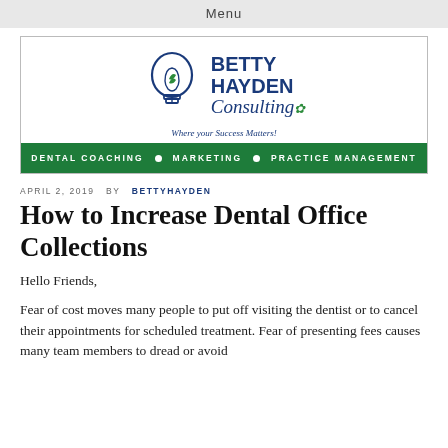Menu
[Figure (logo): Betty Hayden Consulting logo with lightbulb and tooth graphic, tagline 'Where your Success Matters!', and navigation bar with Dental Coaching, Marketing, Practice Management]
APRIL 2, 2019  BY  BETTYHAYDEN
How to Increase Dental Office Collections
Hello Friends,
Fear of cost moves many people to put off visiting the dentist or to cancel their appointments for scheduled treatment. Fear of presenting fees causes many team members to dread or avoid presenting treatment plans, if not done right. Here are a few